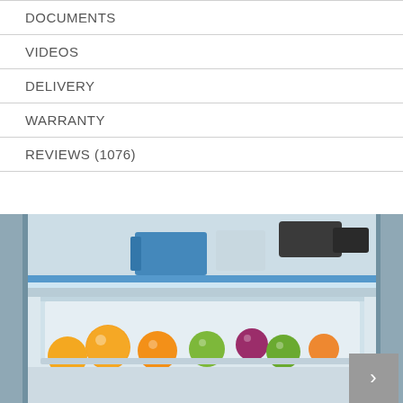DOCUMENTS
VIDEOS
DELIVERY
WARRANTY
REVIEWS (1076)
[Figure (photo): Interior of an open refrigerator showing shelves with fruits including oranges, apples, and other produce in a crisper drawer, with a blue-trimmed glass shelf visible above.]